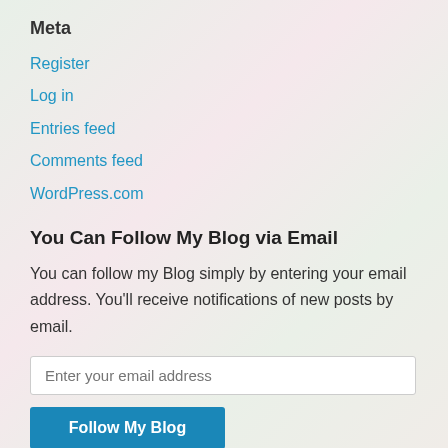Meta
Register
Log in
Entries feed
Comments feed
WordPress.com
You Can Follow My Blog via Email
You can follow my Blog simply by entering your email address. You'll receive notifications of new posts by email.
Enter your email address
Follow My Blog